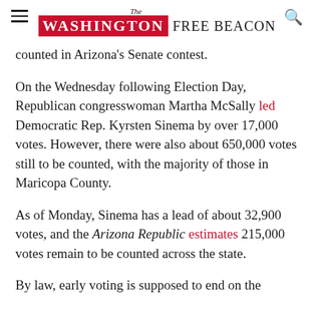The Washington Free Beacon
counted in Arizona's Senate contest.
On the Wednesday following Election Day, Republican congresswoman Martha McSally led Democratic Rep. Kyrsten Sinema by over 17,000 votes. However, there were also about 650,000 votes still to be counted, with the majority of those in Maricopa County.
As of Monday, Sinema has a lead of about 32,900 votes, and the Arizona Republic estimates 215,000 votes remain to be counted across the state.
By law, early voting is supposed to end on the